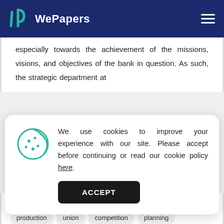WePapers
especially towards the achievement of the missions, visions, and objectives of the bank in question. As such, the strategic department at
We use cookies to improve your experience with our site. Please accept before continuing or read our cookie policy here.
ACCEPT
banking  strategy  customers  nation
production  union  competition  planning